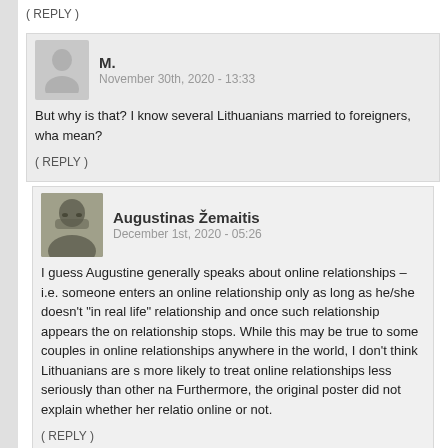( REPLY )
M.
November 30th, 2020 - 13:33
But why is that? I know several Lithuanians married to foreigners, wha mean?
( REPLY )
Augustinas Žemaitis
December 1st, 2020 - 05:26
I guess Augustine generally speaks about online relationships – i.e. someone enters an online relationship only as long as he/she doesn't "in real life" relationship and once such relationship appears the on relationship stops. While this may be true to some couples in online relationships anywhere in the world, I don't think Lithuanians are s more likely to treat online relationships less seriously than other na Furthermore, the original poster did not explain whether her relatio online or not.
( REPLY )